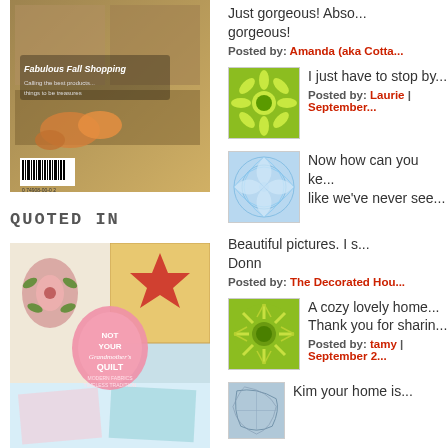[Figure (photo): Book cover: Fabulous Fall Shopping magazine with vintage photos and floral arrangement]
QUOTED IN
[Figure (photo): Book cover: Not Your Grandmother's Quilt featuring colorful quilt patterns]
Just gorgeous! Abso... gorgeous!
Posted by: Amanda (aka Cotta...
[Figure (illustration): Green floral burst avatar icon]
I just have to stop by...
Posted by: Laurie | September...
[Figure (illustration): Blue floral pattern avatar icon]
Now how can you ke... like we've never see...
Beautiful pictures. I s... Donn
Posted by: The Decorated Hou...
[Figure (illustration): Green sunburst avatar icon]
A cozy lovely home... Thank you for sharin...
Posted by: tamy | September 2...
[Figure (illustration): Blue/grey abstract pattern avatar icon]
Kim your home is...